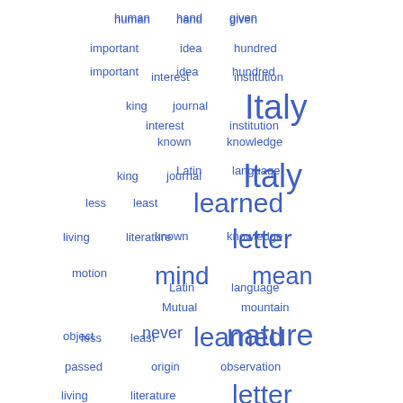[Figure (infographic): Word cloud with blue words of varying sizes arranged in rows. Words include: human, hand, given, important, idea, hundred, interest, institution, king, journal, Italy (large), known, knowledge, Latin, language, less, least, learned (large), living, literature, letter (large), motion, mind (large), mean (large), Mutual, mountain, object, never (medium), nature (large), passed, origin, observation, period, Pennsylvania, physical, person, present (very large), possessed, produced, president, Provost, prove, progress, race, question, published]